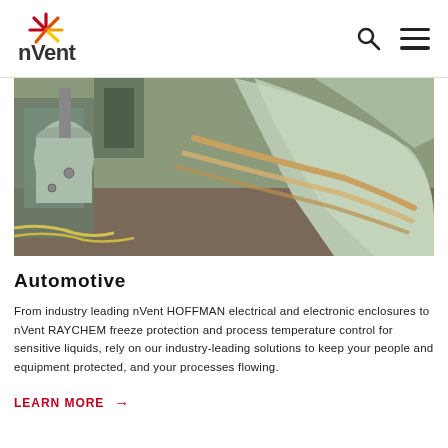[Figure (logo): nVent company logo with sunburst icon in red, orange, and yellow rays above the text 'nVent' in dark gray]
[Figure (photo): Close-up photograph of automotive manufacturing components — metal car body panels and industrial machinery parts in a factory setting]
Automotive
From industry leading nVent HOFFMAN electrical and electronic enclosures to nVent RAYCHEM freeze protection and process temperature control for sensitive liquids, rely on our industry-leading solutions to keep your people and equipment protected, and your processes flowing.
LEARN MORE →